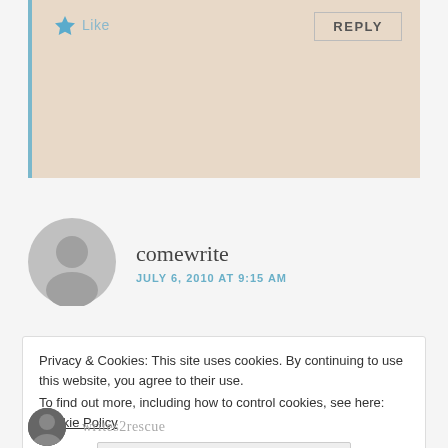[Figure (other): Comment box with beige background and blue left border, containing a Like button with star icon and a REPLY button]
Like
REPLY
[Figure (other): Gray default user avatar circle icon for commenter comewrite]
comewrite
JULY 6, 2010 AT 9:15 AM
Privacy & Cookies: This site uses cookies. By continuing to use this website, you agree to their use.
To find out more, including how to control cookies, see here: Cookie Policy
Close and accept